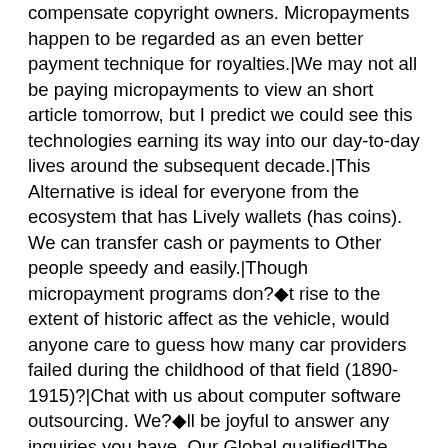compensate copyright owners. Micropayments happen to be regarded as an even better payment technique for royalties.|We may not all be paying micropayments to view an short article tomorrow, but I predict we could see this technologies earning its way into our day-to-day lives around the subsequent decade.|This Alternative is ideal for everyone from the ecosystem that has Lively wallets (has coins). We can transfer cash or payments to Other people speedy and easily.|Though micropayment programs don?▪t rise to the extent of historic affect as the vehicle, would anyone care to guess how many car providers failed during the childhood of that field (1890-1915)?|Chat with us about computer software outsourcing. We?▪ll be joyful to answer any inquiries you have. Our Global qualified|The cookie is set with the GDPR Cookie Consent plugin and is used to retail outlet if user has consented to using cookies. It doesn't store any personalized details.|In cases like this, a purchaser has a need for starting an account Along with the same micropayment supplier. The payments are usually not transferred immediately. Alternatively, They are really stored on a digital wallet, and each time a sum of stored cash hits a certain threshold, a transferee receives compensated.|, on iCoinPay for free. iCoinPay is committed to supplying a trustworthy and user friendly System for all faucet end users to entry and use extra kinds of cryptocurrencies.|Among the approaches